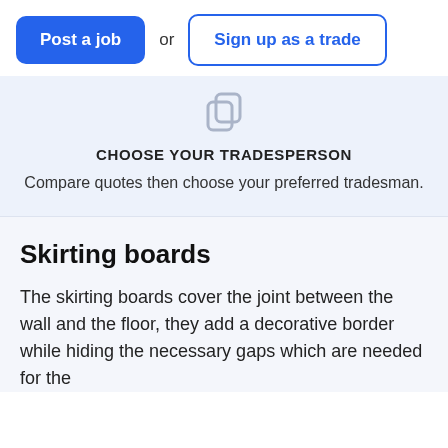[Figure (screenshot): Two buttons side by side: a filled blue 'Post a job' button and an outlined blue 'Sign up as a trade' button with 'or' text between them.]
[Figure (illustration): A light gray icon showing two overlapping rounded square speech bubbles or cards, centered on a light blue background.]
CHOOSE YOUR TRADESPERSON
Compare quotes then choose your preferred tradesman.
Skirting boards
The skirting boards cover the joint between the wall and the floor, they add a decorative border while hiding the necessary gaps which are needed for the